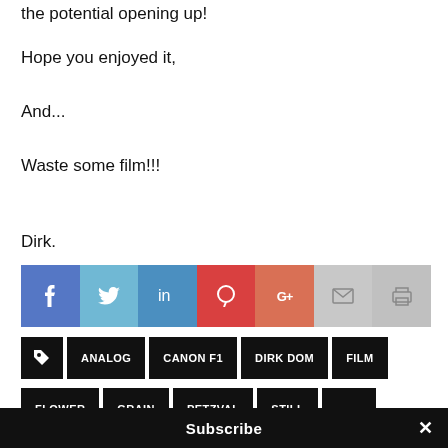the potential opening up!
Hope you enjoyed it,
And...
Waste some film!!!
Dirk.
[Figure (infographic): Social sharing buttons: Facebook, Twitter, LinkedIn, Pinterest, Google+, Email, Print]
[Figure (infographic): Tag buttons: tag icon, ANALOG, CANON F1, DIRK DOM, FILM]
[Figure (infographic): Tag buttons row 2: FLOWER, GRAIN, PETZVAL, STILL, and a partially visible button]
Subscribe
×